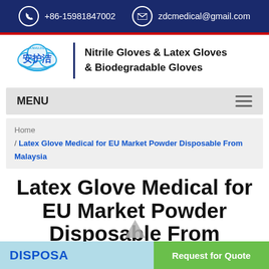+86-15981847002  zdcmedical@gmail.com
[Figure (logo): Anhujie brand logo with Chinese characters and cloud/leaf design, next to text: Nitrile Gloves & Latex Gloves & Biodegradable Gloves]
MENU
Home / Latex Glove Medical for EU Market Powder Disposable From Malaysia
Latex Glove Medical for EU Market Powder Disposable From Malaysia
DISPOSA   Request for Quote